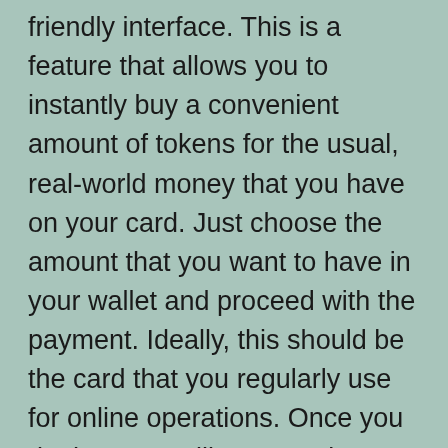friendly interface. This is a feature that allows you to instantly buy a convenient amount of tokens for the usual, real-world money that you have on your card. Just choose the amount that you want to have in your wallet and proceed with the payment. Ideally, this should be the card that you regularly use for online operations. Once you do that, you will get ETH in your virtual wallet within a few seconds of time. A lot of users choose this method for its time efficiency because they don't have to wait long for their transfers to settle.
...